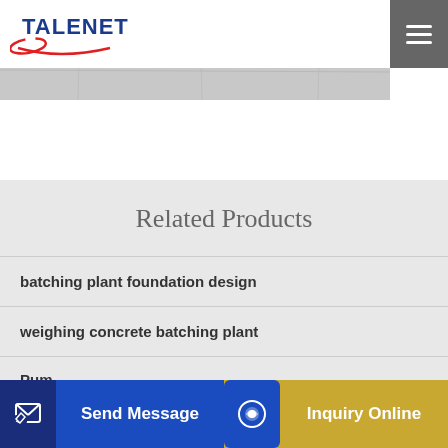TALENET
[Figure (photo): Header background image showing concrete or stone texture]
Related Products
batching plant foundation design
weighing concrete batching plant
Pump ... (partial, cut off)